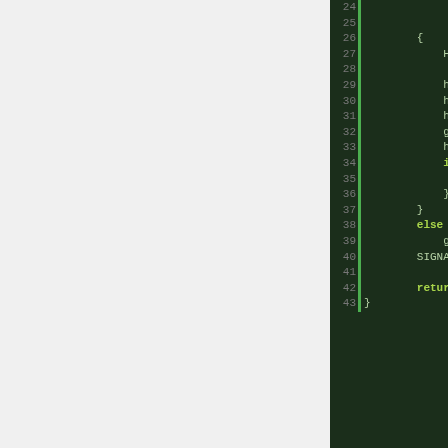[Figure (screenshot): Code editor screenshot showing lines 24-43 of C code with dark green background, line numbers on the left, a green vertical bar, and syntax-highlighted code in light green/yellow-green colors. Keywords like 'if', 'else', 'return' are highlighted in yellow-green. Code shows handler and g_closure related operations including SIGNAL_UNLOCK.]
1.     hanlderの
2.     C closure, ​​​​user ​
3. handler​​​​closure, ​​​​
4. ​hanlder, ​​​​​handler li
5. ​​signal node​C marsha